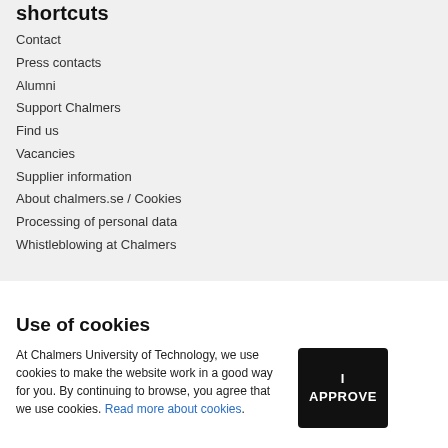shortcuts
Contact
Press contacts
Alumni
Support Chalmers
Find us
Vacancies
Supplier information
About chalmers.se / Cookies
Processing of personal data
Whistleblowing at Chalmers
Use of cookies
At Chalmers University of Technology, we use cookies to make the website work in a good way for you. By continuing to browse, you agree that we use cookies. Read more about cookies.